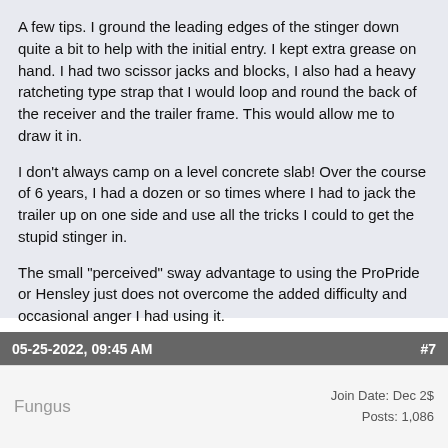A few tips. I ground the leading edges of the stinger down quite a bit to help with the initial entry. I kept extra grease on hand. I had two scissor jacks and blocks, I also had a heavy ratcheting type strap that I would loop and round the back of the receiver and the trailer frame. This would allow me to draw it in.
I don't always camp on a level concrete slab! Over the course of 6 years, I had a dozen or so times where I had to jack the trailer up on one side and use all the tricks I could to get the stupid stinger in.
The small "perceived" sway advantage to using the ProPride or Hensley just does not overcome the added difficulty and occasional anger I had using it.
The BlueOx I use on my new 2022 25' works very well and is extremely easy to hookup. Did I say extremely easy to use.
QUOTE
05-25-2022, 09:45 AM
#7
Fungus
Join Date: Dec 2
Posts: 1,086